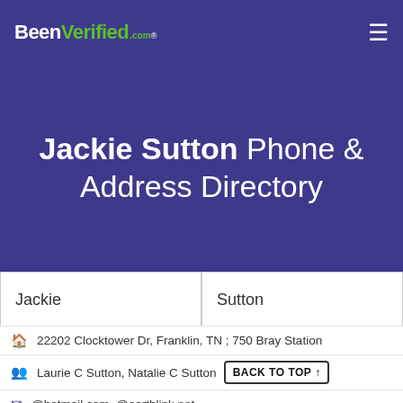[Figure (logo): BeenVerified.com logo with hamburger menu icon on purple background]
Jackie Sutton Phone & Address Directory
| First Name | Last Name |
| --- | --- |
| Jackie | Sutton |
| City | All States |
SEARCH
22202 Clocktower Dr, Franklin, TN ; 750 Bray Station
Laurie C Sutton, Natalie C Sutton
@hotmail.com, @earthlink.net